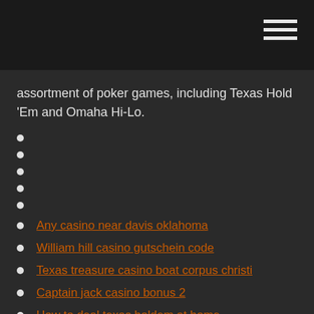assortment of poker games, including Texas Hold 'Em and Omaha Hi-Lo.
Any casino near davis oklahoma
William hill casino gutschein code
Texas treasure casino boat corpus christi
Captain jack casino bonus 2
How to deal texas holdem at home
Presque isle downs casino online